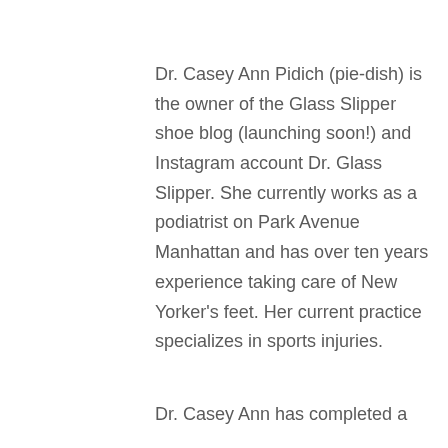Dr. Casey Ann Pidich (pie-dish) is the owner of the Glass Slipper shoe blog (launching soon!) and Instagram account Dr. Glass Slipper. She currently works as a podiatrist on Park Avenue Manhattan and has over ten years experience taking care of New Yorker's feet. Her current practice specializes in sports injuries.
Dr. Casey Ann has completed a